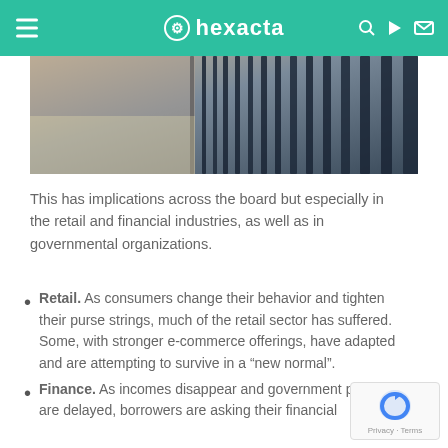hexacta
[Figure (photo): Close-up photo of rows of dark metal chairs or seat backs in a public space, with blurred background.]
This has implications across the board but especially in the retail and financial industries, as well as in governmental organizations.
Retail. As consumers change their behavior and tighten their purse strings, much of the retail sector has suffered. Some, with stronger e-commerce offerings, have adapted and are attempting to survive in a “new normal”.
Finance. As incomes disappear and government payouts are delayed, borrowers are asking their financial